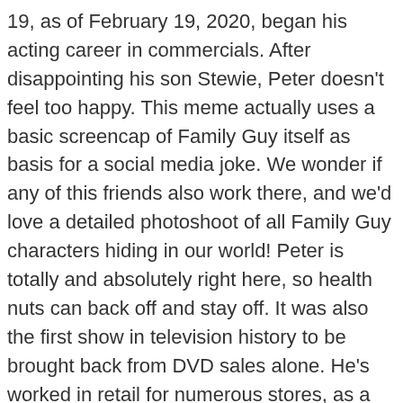19, as of February 19, 2020, began his acting career in commercials. After disappointing his son Stewie, Peter doesn't feel too happy. This meme actually uses a basic screencap of Family Guy itself as basis for a social media joke. We wonder if any of this friends also work there, and we'd love a detailed photoshoot of all Family Guy characters hiding in our world! Peter is totally and absolutely right here, so health nuts can back off and stay off. It was also the first show in television history to be brought back from DVD sales alone. He's worked in retail for numerous stores, as a CPR teacher, a referee, priest, medium, and board member of the local public school district. The only thing I can't figure out is why Peter's hair is grey here. Amid COVID-19 lockdown rules in 2020, social media users appeared to "discover" a brand new quotation from the classic dystopian novel "1984.". Since 1999, the adult animated series Family Guy has been a regular staple of late night tv. Well done either way. The "Grinds My Gears" segment has become a wide-spread sensation as well. After he succeeded in graduating he was